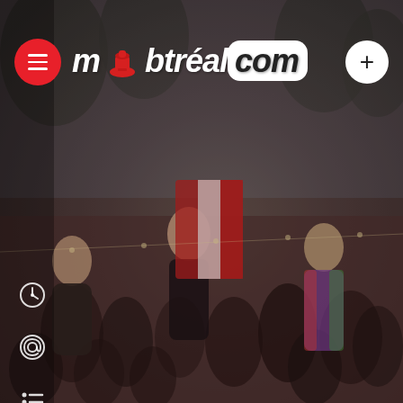[Figure (photo): Outdoor music festival crowd scene. Three young women are prominent: left woman with eyes closed dancing, center woman holding up a red and white flag (Canadian flag) with arms raised, right woman in colorful outfit smiling. Dense crowd in background, trees and string lights visible.]
m  btréal.com
[Figure (logo): mabtréal.com logo with hamburger menu button (red circle with three white lines), red hat icon replacing letter 'a', italic white text 'mbtréal' and 'com' in white pill/rounded rectangle, plus a white circle with plus sign on the right side]
[Figure (other): Three vertical social/navigation icons on left side: a clock/time icon, an at-sign/email icon, and a list/menu icon]